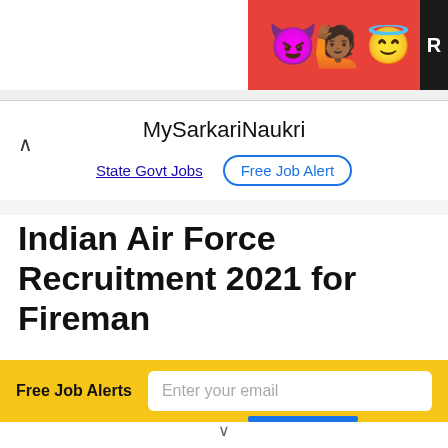[Figure (illustration): Advertisement banner with emoji characters (devil, woman, angel emoji) on red background with black R label on right edge]
MySarkariNaukri
State Govt Jobs | Free Job Alert
Indian Air Force Recruitment 2021 for Fireman
Free Job Alerts  Enter your email